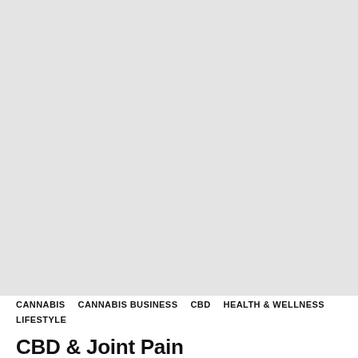[Figure (photo): Large light grey placeholder image area occupying the top portion of the page]
CANNABIS    CANNABIS BUSINESS    CBD    HEALTH & WELLNESS    LIFESTYLE
CBD & Joint Pain